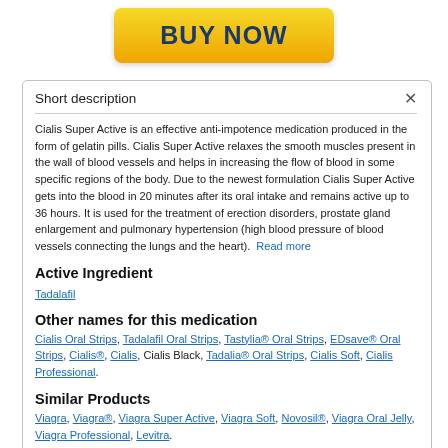[Figure (other): Yellow BUY NOW button]
Short description
Cialis Super Active is an effective anti-impotence medication produced in the form of gelatin pills. Cialis Super Active relaxes the smooth muscles present in the wall of blood vessels and helps in increasing the flow of blood in some specific regions of the body. Due to the newest formulation Cialis Super Active gets into the blood in 20 minutes after its oral intake and remains active up to 36 hours. It is used for the treatment of erection disorders, prostate gland enlargement and pulmonary hypertension (high blood pressure of blood vessels connecting the lungs and the heart). Read more
Active Ingredient
Tadalafil
Other names for this medication
Cialis Oral Strips, Tadalafil Oral Strips, Tastylia® Oral Strips, EDsave® Oral Strips, Cialis®, Cialis, Cialis Black, Tadalia® Oral Strips, Cialis Soft, Cialis Professional.
Similar Products
Viagra, Viagra®, Viagra Super Active, Viagra Soft, Novosil®, Viagra Oral Jelly, Viagra Professional, Levitra.